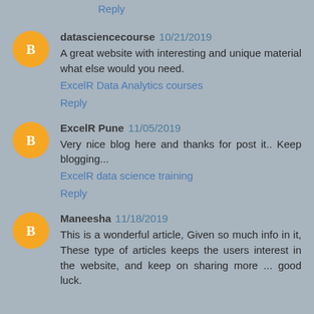Reply
datasciencecourse 10/21/2019
A great website with interesting and unique material what else would you need.
ExcelR Data Analytics courses
Reply
ExcelR Pune 11/05/2019
Very nice blog here and thanks for post it.. Keep blogging...
ExcelR data science training
Reply
Maneesha 11/18/2019
This is a wonderful article, Given so much info in it, These type of articles keeps the users interest in the website, and keep on sharing more ... good luck.